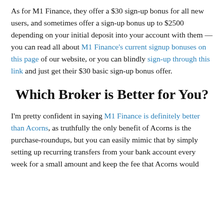As for M1 Finance, they offer a $30 sign-up bonus for all new users, and sometimes offer a sign-up bonus up to $2500 depending on your initial deposit into your account with them — you can read all about M1 Finance's current signup bonuses on this page of our website, or you can blindly sign-up through this link and just get their $30 basic sign-up bonus offer.
Which Broker is Better for You?
I'm pretty confident in saying M1 Finance is definitely better than Acorns, as truthfully the only benefit of Acorns is the purchase-roundups, but you can easily mimic that by simply setting up recurring transfers from your bank account every week for a small amount and keep the fee that Acorns would